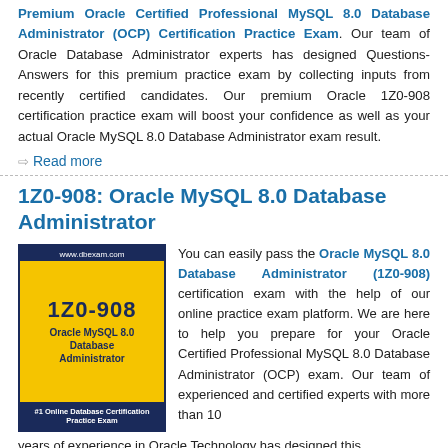Premium Oracle Certified Professional MySQL 8.0 Database Administrator (OCP) Certification Practice Exam. Our team of Oracle Database Administrator experts has designed Questions-Answers for this premium practice exam by collecting inputs from recently certified candidates. Our premium Oracle 1Z0-908 certification practice exam will boost your confidence as well as your actual Oracle MySQL 8.0 Database Administrator exam result.
Read more
1Z0-908: Oracle MySQL 8.0 Database Administrator
[Figure (illustration): Book cover for 1Z0-908 Oracle MySQL 8.0 Database Administrator exam, showing www.dbexam.com at top, exam number 1Z0-908, exam title, and #1 Online Database Certification Practice Exam at bottom. Dark blue and yellow design.]
You can easily pass the Oracle MySQL 8.0 Database Administrator (1Z0-908) certification exam with the help of our online practice exam platform. We are here to help you prepare for your Oracle Certified Professional MySQL 8.0 Database Administrator (OCP) exam. Our team of experienced and certified experts with more than 10 years of experience in Oracle Technology has designed this